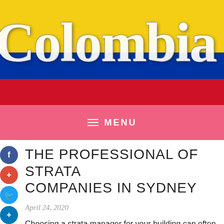[Figure (illustration): Colombia flag banner with large 'Colombia' text overlaid on yellow, blue, and red horizontal stripes]
MENU
THE PROFESSIONAL OF STRATA COMPANIES IN SYDNEY
April 24, 2020
Choosing a strata manager for your building can often be a troublesome task. Not only do you want to find a